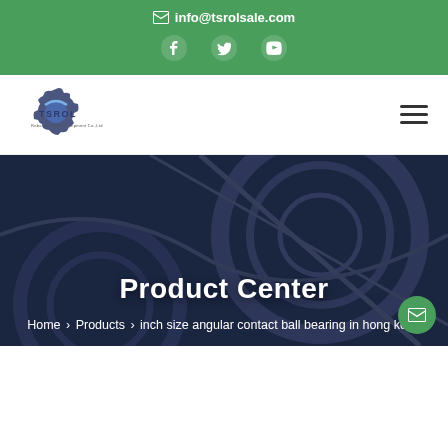info@tsrolsale.com
[Figure (logo): TSROL company logo with gear and text]
Product Center
Home > Products > inch size angular contact ball bearing in hong kong